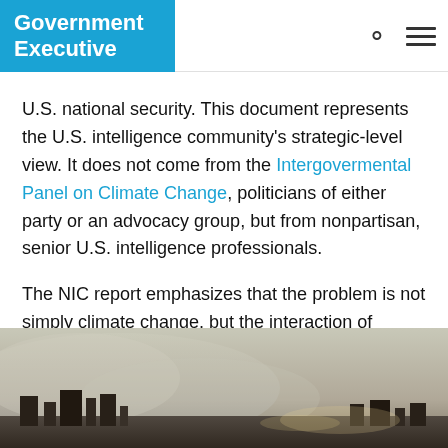Government Executive
U.S. national security. This document represents the U.S. intelligence community's strategic-level view. It does not come from the Intergovermental Panel on Climate Change, politicians of either party or an advocacy group, but from nonpartisan, senior U.S. intelligence professionals.
The NIC report emphasizes that the problem is not simply climate change, but the interaction of climate with other large-scale demographic and migration trends; its impacts on food, energy and health; and the stresses it will place on societies, especially fragile ones.
[Figure (photo): Smoke or haze over an industrial landscape or building silhouette at dusk/dawn with low lighting]